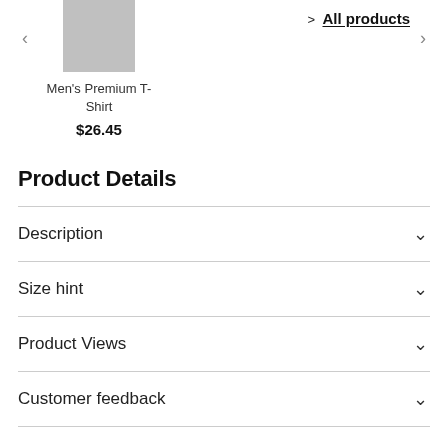[Figure (photo): Product thumbnail image placeholder (grey square) for Men's Premium T-Shirt]
Men's Premium T-Shirt
$26.45
> All products
Product Details
Description
Size hint
Product Views
Customer feedback